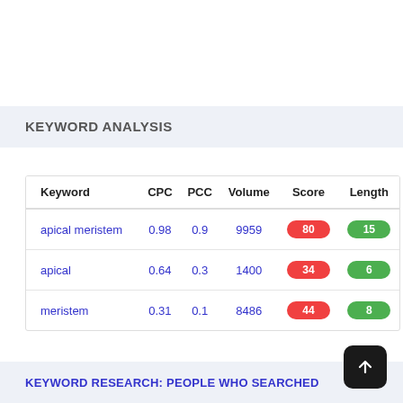KEYWORD ANALYSIS
| Keyword | CPC | PCC | Volume | Score | Length |
| --- | --- | --- | --- | --- | --- |
| apical meristem | 0.98 | 0.9 | 9959 | 80 | 15 |
| apical | 0.64 | 0.3 | 1400 | 34 | 6 |
| meristem | 0.31 | 0.1 | 8486 | 44 | 8 |
KEYWORD RESEARCH: PEOPLE WHO SEARCHED